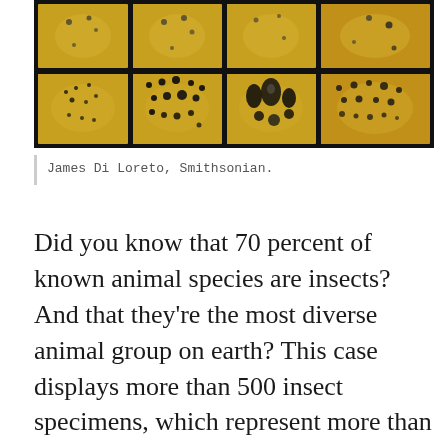[Figure (photo): A museum display case showing rows of pinned insect specimens arranged in illuminated golden-yellow panels. The case has two rows of four panels each, with various beetles and insects displayed against warm amber-lit backgrounds with oval highlights.]
James Di Loreto, Smithsonian.
Did you know that 70 percent of known animal species are insects? And that they're the most diverse animal group on earth? This case displays more than 500 insect specimens, which represent more than a million known insect species: beetles, roaches, locusts,